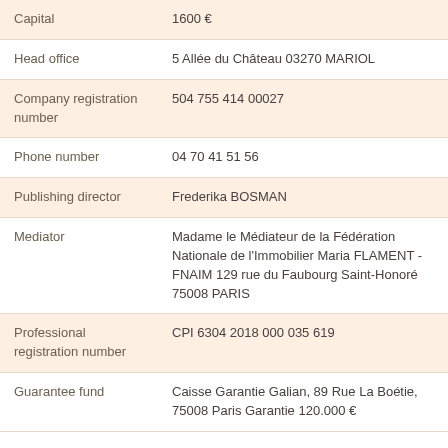| Field | Value |
| --- | --- |
| Capital | 1600 € |
| Head office | 5 Allée du Château 03270 MARIOL |
| Company registration number | 504 755 414 00027 |
| Phone number | 04 70 41 51 56 |
| Publishing director | Frederika BOSMAN |
| Mediator | Madame le Médiateur de la Fédération Nationale de l'Immobilier Maria FLAMENT - FNAIM 129 rue du Faubourg Saint-Honoré 75008 PARIS |
| Professional registration number | CPI 6304 2018 000 035 619 |
| Guarantee fund | Caisse Garantie Galian, 89 Rue La Boétie, 75008 Paris Garantie 120.000 € |